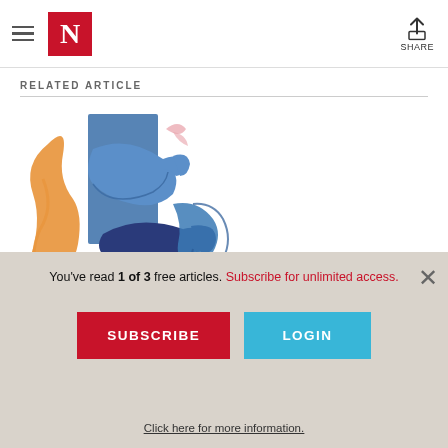N | SHARE
RELATED ARTICLE
[Figure (illustration): Colorful illustration of two hands with botanical plant elements in orange, blue, and dark navy colors on a white and blue background]
MUTUAL AID CAN'T DO IT ALONE
Joanna Wuest
You've read 1 of 3 free articles. Subscribe for unlimited access.
SUBSCRIBE
LOGIN
Click here for more information.